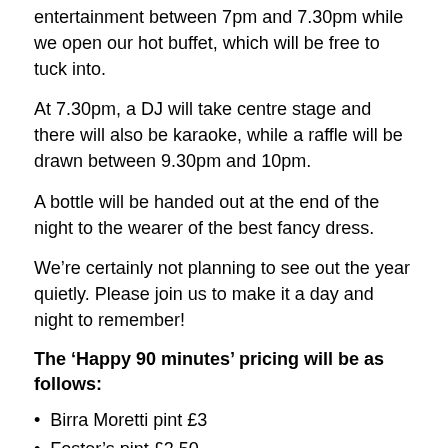entertainment between 7pm and 7.30pm while we open our hot buffet, which will be free to tuck into.
At 7.30pm, a DJ will take centre stage and there will also be karaoke, while a raffle will be drawn between 9.30pm and 10pm.
A bottle will be handed out at the end of the night to the wearer of the best fancy dress.
We’re certainly not planning to see out the year quietly. Please join us to make it a day and night to remember!
The ‘Happy 90 minutes’ pricing will be as follows:
Birra Moretti pint £3
Foster’s pint £2.50
Strongbow pint £2.50
IPA pint £2.50
John Smith’s pint £2
Small bottle of wine £3